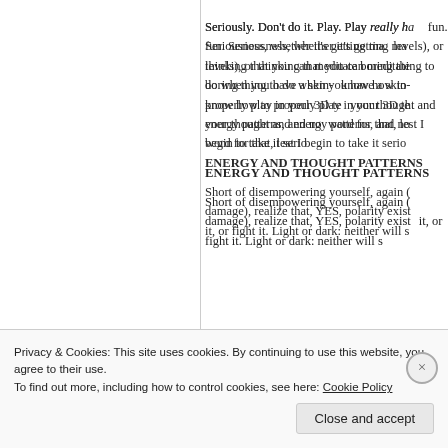Seriously. Don't do it. Play. Play really hard. Have fun. Seriousness, whether it's getting mad (at all levels), or thinking that you can meditate the boring thing to do when you have a skin-suit, know how to properly play in your 3D test, your thought and energy patterns, and not— word for that, lest I begin to take it serious— ENERGY AND THOUGHT PATTERNS
Short of disempowering yourself, again (th— damage), realize that, YES, polarity exists— it, or fight it. Light or dark: neither will se— ok—
Privacy & Cookies: This site uses cookies. By continuing to use this website, you agree to their use.
To find out more, including how to control cookies, see here: Cookie Policy